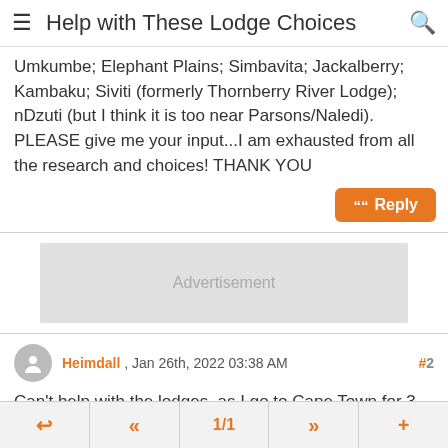Help with These Lodge Choices
Umkumbe; Elephant Plains; Simbavita; Jackalberry; Kambaku; Siviti (formerly Thornberry River Lodge); nDzuti (but I think it is too near Parsons/Naledi).
PLEASE give me your input...I am exhausted from all the research and choices! THANK YOU
[Figure (screenshot): Advertisement placeholder block]
Heimdall , Jan 26th, 2022 03:38 AM  #2
Can't help with the lodges, as I go to Cape Town for 3 weeks at a time. Will you really be in South Africa for only 4 days, not counting arrival and departure days?
← « 1/1 » +